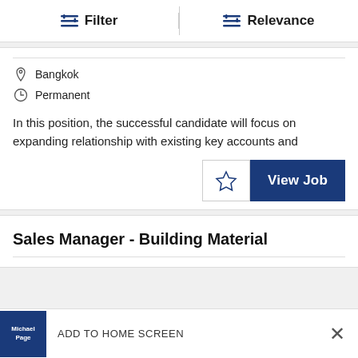Filter   Relevance
Bangkok
Permanent
In this position, the successful candidate will focus on expanding relationship with existing key accounts and
Sales Manager - Building Material
ADD TO HOME SCREEN